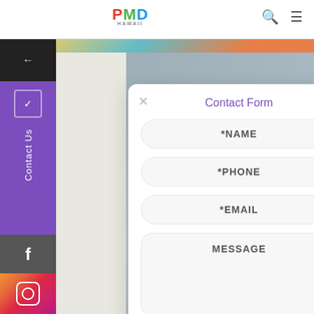PMD — header with search and menu icons
[Figure (screenshot): Contact form modal overlay on a website with colorful background and denim photo. Contains fields: *NAME, *PHONE, *EMAIL, MESSAGE]
Contact Form
*NAME
*PHONE
*EMAIL
MESSAGE